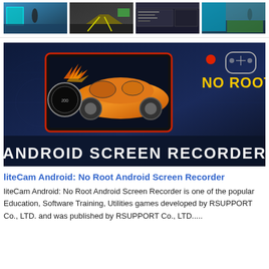[Figure (screenshot): Four thumbnail screenshots of a game/app in a row at the top of the page]
[Figure (screenshot): Banner image for liteCam Android: No Root Android Screen Recorder, showing a racing car on a phone screen with text 'NO ROOT' and 'ANDROID SCREEN RECORDER' on a dark blue background]
liteCam Android: No Root Android Screen Recorder
liteCam Android: No Root Android Screen Recorder is one of the popular Education, Software Training, Utilities games developed by RSUPPORT Co., LTD. and was published by RSUPPORT Co., LTD.....